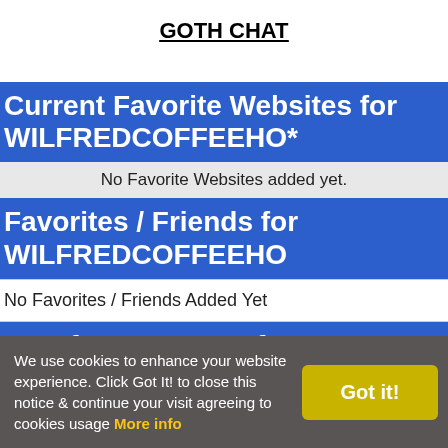GOTH CHAT
Current Favorite Websites for WILFREDCOFFEEHO*
No Favorite Websites added yet.
Favorites / Friends for WILFREDCOFFEEHO
No Favorites / Friends Added Yet
Last forum posts of WILFREDCOFFEEHO on Goth Passions
No forum posts yet
We use cookies to enhance your website experience. Click Got It! to close this notice & continue your visit agreeing to cookies usage More info